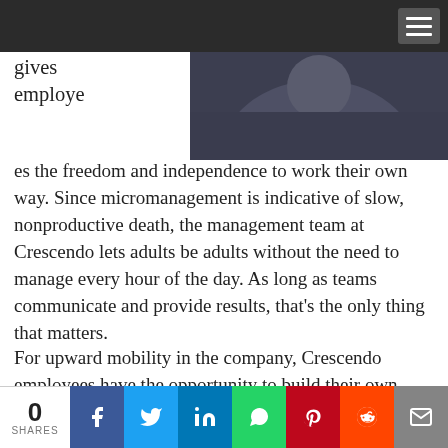[Figure (photo): Dark navigation bar with hamburger menu icon at top right]
[Figure (photo): Partial photo of a person against dark background, cropped at top]
gives employees the freedom and independence to work their own way. Since micromanagement is indicative of slow, nonproductive death, the management team at Crescendo lets adults be adults without the need to manage every hour of the day. As long as teams communicate and provide results, that’s the only thing that matters.
For upward mobility in the company, Crescendo employees have the opportunity to build their own path to career success. If someone wants to try new things, expand their skills, or go for specific roles and positions, they are more than welcome to present a
[Figure (infographic): Social share bar at bottom: 0 SHARES count, then Facebook, Twitter, LinkedIn, WhatsApp, Pinterest, Reddit, Email buttons]